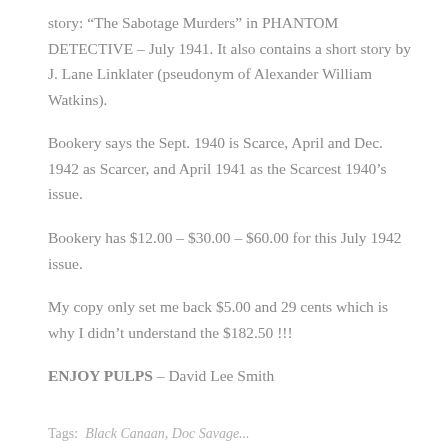story: “The Sabotage Murders” in PHANTOM DETECTIVE – July 1941. It also contains a short story by J. Lane Linklater (pseudonym of Alexander William Watkins).
Bookery says the Sept. 1940 is Scarce, April and Dec. 1942 as Scarcer, and April 1941 as the Scarcest 1940’s issue.
Bookery has $12.00 – $30.00 – $60.00 for this July 1942 issue.
My copy only set me back $5.00 and 29 cents which is why I didn’t understand the $182.50 !!!
ENJOY PULPS – David Lee Smith
Tags: Black Canaan, Doc Savage...